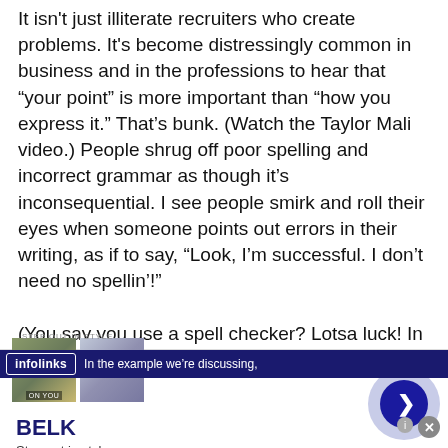It isn't just illiterate recruiters who create problems. It's become distressingly common in business and in the professions to hear that “your point” is more important than “how you express it.” That’s bunk. (Watch the Taylor Mali video.) People shrug off poor spelling and incorrect grammar as though it’s inconsequential. I see people smirk and roll their eyes when someone points out errors in their writing, as if to say, “Look, I’m successful. I don’t need no spellin’!”

(You say you use a spell checker? Lotsa luck! In the example we’re discussing,
[Figure (screenshot): An advertisement overlay: infolinks bar at top with dark blue background, and a BELK clothing advertisement below showing two fashion images, BELK brand name, tagline 'Step out in style.' and URL www.belk.com, with a circular arrow button on the right and a close button.]